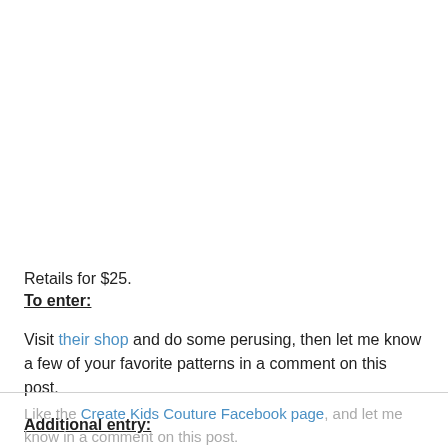Retails for $25.
To enter:
Visit their shop and do some perusing, then let me know a few of your favorite patterns in a comment on this post.
Additional entry:
Like the Create Kids Couture Facebook page, and let me know in a comment on this post.